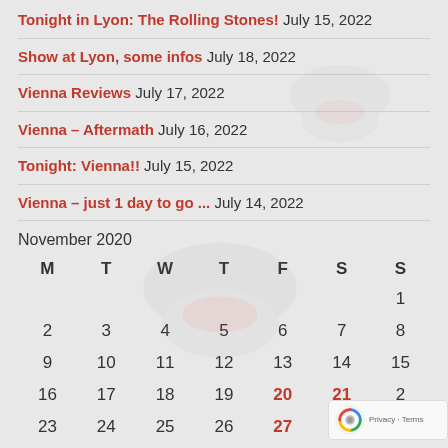Tonight in Lyon: The Rolling Stones! July 15, 2022
Show at Lyon, some infos July 18, 2022
Vienna Reviews July 17, 2022
Vienna – Aftermath July 16, 2022
Tonight: Vienna!! July 15, 2022
Vienna – just 1 day to go ... July 14, 2022
November 2020
| M | T | W | T | F | S | S |
| --- | --- | --- | --- | --- | --- | --- |
|  |  |  |  |  |  | 1 |
| 2 | 3 | 4 | 5 | 6 | 7 | 8 |
| 9 | 10 | 11 | 12 | 13 | 14 | 15 |
| 16 | 17 | 18 | 19 | 20 | 21 | 2 |
| 23 | 24 | 25 | 26 | 27 | 28 | 2 |